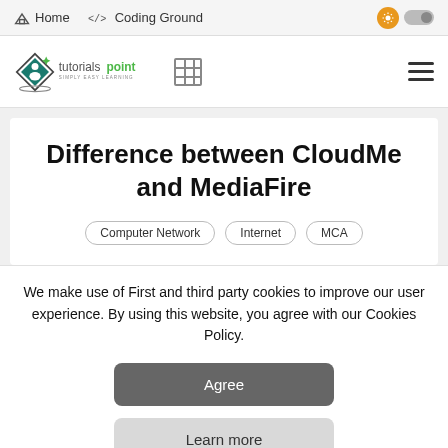Home  </> Coding Ground
[Figure (logo): Tutorialspoint logo with diamond shape and 'SIMPLY EASY LEARNING' tagline, plus a grid/table icon and hamburger menu icon]
Difference between CloudMe and MediaFire
Computer Network
Internet
MCA
We make use of First and third party cookies to improve our user experience. By using this website, you agree with our Cookies Policy.
Agree
Learn more